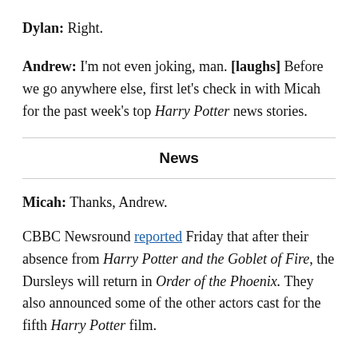Dylan: Right.
Andrew: I'm not even joking, man. [laughs] Before we go anywhere else, first let's check in with Micah for the past week's top Harry Potter news stories.
News
Micah: Thanks, Andrew.
CBBC Newsround reported Friday that after their absence from Harry Potter and the Goblet of Fire, the Dursleys will return in Order of the Phoenix. They also announced some of the other actors cast for the fifth Harry Potter film.